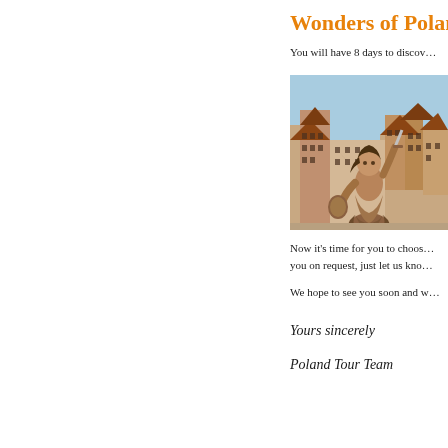Wonders of Poland
You will have 8 days to discov…
[Figure (photo): Bronze statue of the Warsaw Mermaid (Syrenka) holding a sword and shield, with historic Old Town buildings in the background under a blue sky.]
Now it's time for you to choos… you on request, just let us kno…
We hope to see you soon and w…
Yours sincerely
Poland Tour Team